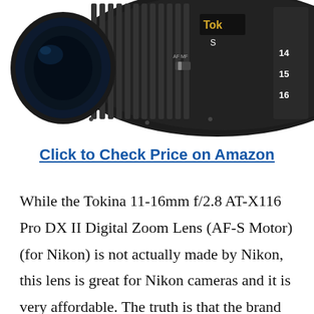[Figure (photo): Close-up photo of a Tokina 11-16mm f/2.8 AT-X116 Pro DX II camera lens, showing the black textured barrel with gold ring and zoom markings (14, 15, 16) visible on the right side, set against a white background.]
Click to Check Price on Amazon
While the Tokina 11-16mm f/2.8 AT-X116 Pro DX II Digital Zoom Lens (AF-S Motor) (for Nikon) is not actually made by Nikon, this lens is great for Nikon cameras and it is very affordable. The truth is that the brand doesn't have too many lenses available and